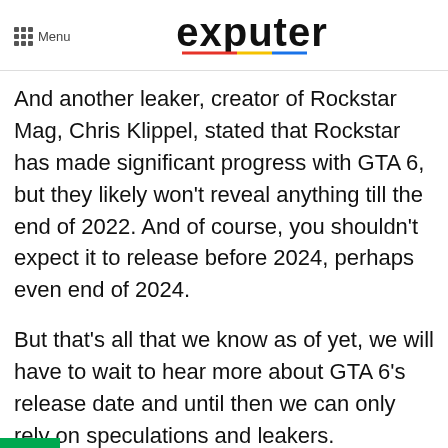Menu | exputer
And another leaker, creator of Rockstar Mag, Chris Klippel, stated that Rockstar has made significant progress with GTA 6, but they likely won't reveal anything till the end of 2022. And of course, you shouldn't expect it to release before 2024, perhaps even end of 2024.
But that's all that we know as of yet, we will have to wait to hear more about GTA 6's release date and until then we can only rely on speculations and leakers.